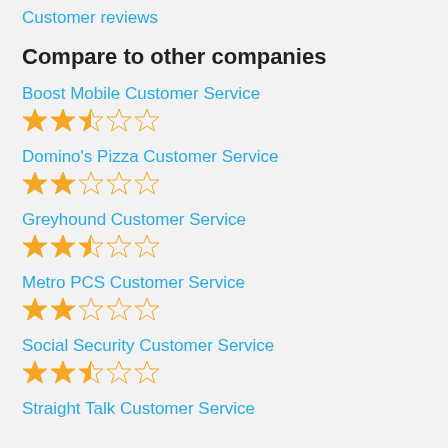Customer reviews
Compare to other companies
Boost Mobile Customer Service
★★½☆☆ (2.5 stars)
Domino's Pizza Customer Service
★★☆☆☆ (2 stars)
Greyhound Customer Service
★★½☆☆ (2.5 stars)
Metro PCS Customer Service
★★☆☆☆ (2 stars)
Social Security Customer Service
★★½☆☆ (2.5 stars)
Straight Talk Customer Service